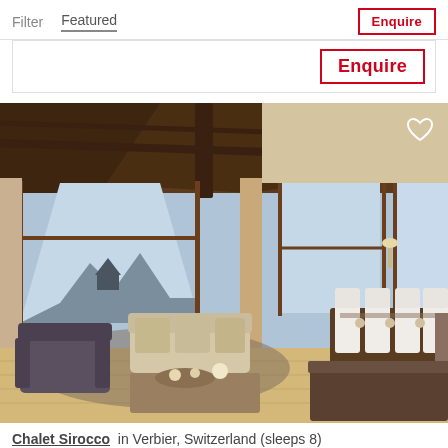Filter  Featured  Enquire
Enquire
[Figure (photo): Interior of Chalet Sirocco in Verbier, Switzerland — a luxury alpine chalet with wooden beam ceilings, large windows with mountain views, plush living area and formal dining table set with white chairs.]
Chalet Sirocco in Verbier, Switzerland (sleeps 8)